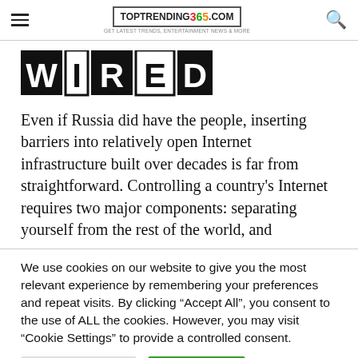TopTrending365.com
[Figure (logo): WIRED magazine logo in black block letters]
Even if Russia did have the people, inserting barriers into relatively open Internet infrastructure built over decades is far from straightforward. Controlling a country's Internet requires two major components: separating yourself from the rest of the world, and
We use cookies on our website to give you the most relevant experience by remembering your preferences and repeat visits. By clicking "Accept All", you consent to the use of ALL the cookies. However, you may visit "Cookie Settings" to provide a controlled consent.